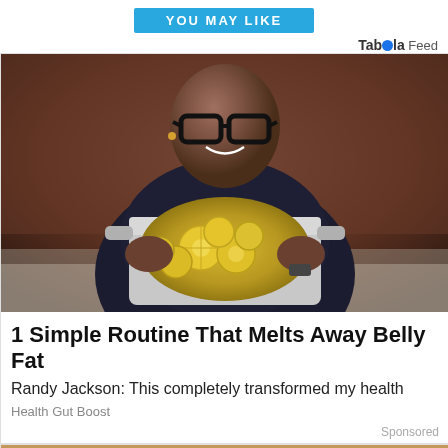YOU MAY LIKE
Taboola Feed
[Figure (photo): A man wearing glasses holding a pot with lemon slices in liquid, in a kitchen setting]
1 Simple Routine That Melts Away Belly Fat
Randy Jackson: This completely transformed my health
Health Gut Boost
Sponsored
[Figure (photo): Bottom portion of another advertisement image partially visible]